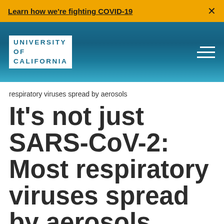Learn how we're fighting COVID-19
[Figure (logo): University of California logo with white text on blue gradient header background, with hamburger menu icon]
respiratory viruses spread by aerosols
It’s not just SARS-CoV-2: Most respiratory viruses spread by aerosols